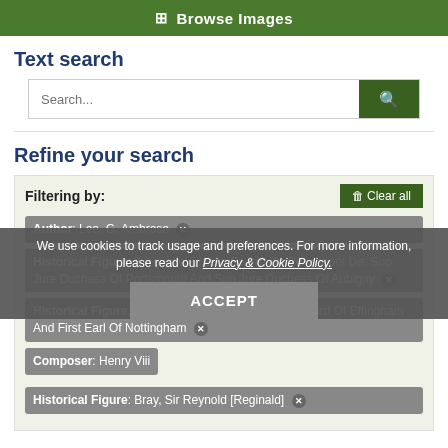Browse Images
Text search
Search...
Refine your search
Filtering by:
Author: Lee, G. Ambrose ✕
Historical Figure: Kéroualle, Louise Renée De Penancoët De, Suo Jure Duchess Of Portsmouth And Suo Jure Duchess Of Aubigny ✕
Historical Figure: Howard, Charles, 2nd Baron Howard Of Effingham And First Earl Of Nottingham ✕
Composer: Henry Viii
Historical Figure: Bray, Sir Reynold [Reginald] ✕
We use cookies to track usage and preferences. For more information, please read our Privacy & Cookie Policy.
ACCEPT